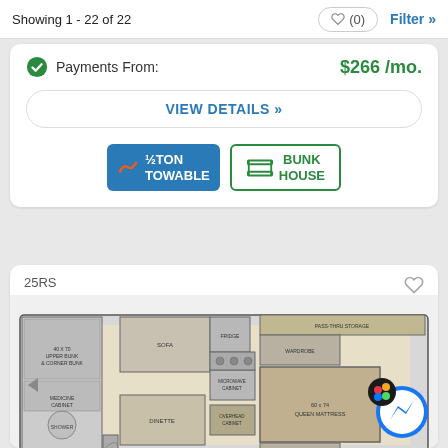Showing 1 - 22 of 22
Payments From: $266 /mo.
VIEW DETAILS »
[Figure (logo): ½ TON TOWABLE badge (blue background, orange/white icon)]
[Figure (logo): BUNK HOUSE badge (green border, green text)]
25RS
[Figure (engineering-diagram): RV floor plan for model 25RS showing layout with sofa, fridge, microwave cabinet, dinette, overhead cabinet, wardrobe, pass-thru storage, outdoor storage, and queen mattress areas]